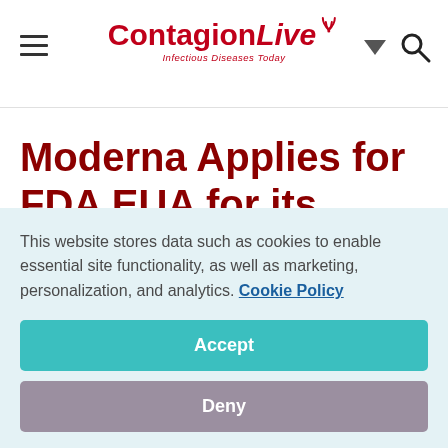ContagionLive — Infectious Diseases Today
Moderna Applies for FDA EUA for its COVID-19
This website stores data such as cookies to enable essential site functionality, as well as marketing, personalization, and analytics. Cookie Policy
Accept
Deny